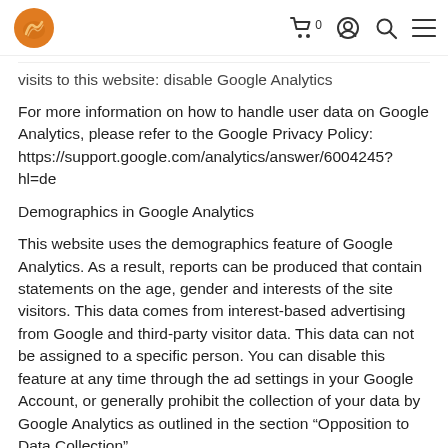[logo] [cart icon] 0 [account icon] [search icon] [menu icon]
visits to this website: disable Google Analytics
For more information on how to handle user data on Google Analytics, please refer to the Google Privacy Policy: https://support.google.com/analytics/answer/6004245?hl=de
Demographics in Google Analytics
This website uses the demographics feature of Google Analytics. As a result, reports can be produced that contain statements on the age, gender and interests of the site visitors. This data comes from interest-based advertising from Google and third-party visitor data. This data can not be assigned to a specific person. You can disable this feature at any time through the ad settings in your Google Account, or generally prohibit the collection of your data by Google Analytics as outlined in the section “Opposition to Data Collection”.
Facebook plugins (like button)
On our pages plugins of the social network Facebook,